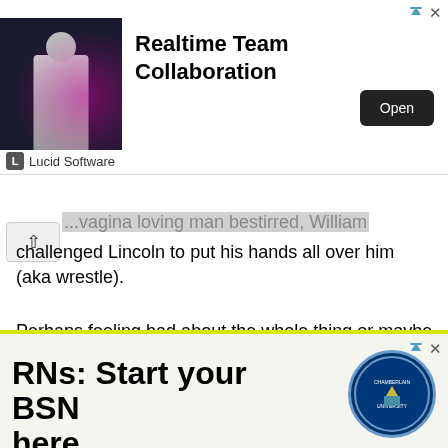[Figure (screenshot): Top advertisement banner for Lucid Software featuring 'Realtime Team Collaboration' with an Open button and a dark image with a person on the left]
challenged Lincoln to put his hands all over him (aka wrestle).
Perhaps feeling bad about the whole thing or maybe just wanting to insult him more, Lincoln, who was a clear head taller than his challenger, suggested that this wouldn't be fair to William and instead suggested William fight his step-brother, John D. Johnston who wasn't near the fighter that Abe was. William accepted.
[Figure (screenshot): Bottom advertisement banner for Chamberlain University with text 'RNs: Start your BSN here' and university seal logo]